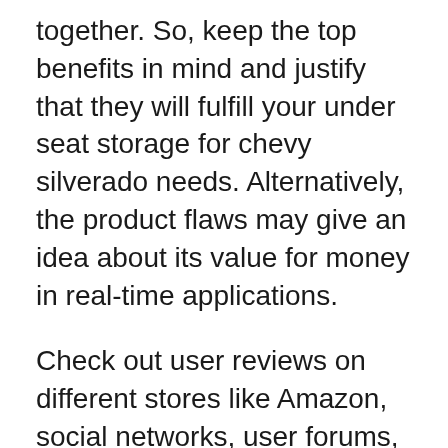together. So, keep the top benefits in mind and justify that they will fulfill your under seat storage for chevy silverado needs. Alternatively, the product flaws may give an idea about its value for money in real-time applications.
Check out user reviews on different stores like Amazon, social networks, user forums, and the manufacturer website. It may clarify the top pros and cons for necessary product comparison. In this case, we are already ahead of reviewing them. We are not suggesting doing massive works; look at our under seat storage for chevy silverado pros and cons for the best compatibility.